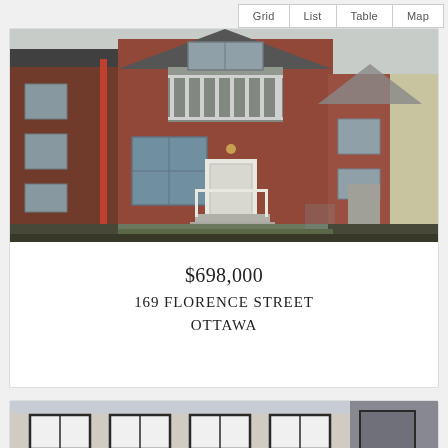Grid | List | Table | Map
[Figure (photo): Exterior photo of a two-storey red brick rowhouse at 169 Florence Street, Ottawa, with white front porch railing and balcony above the entrance]
$698,000
169 FLORENCE STREET
OTTAWA
[Figure (photo): Partial exterior photo of a modern light-coloured building with dark window frames]